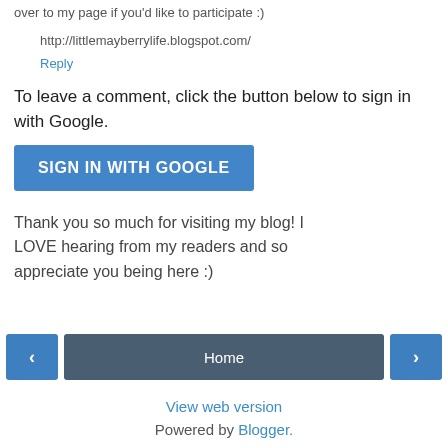over to my page if you'd like to participate :)
http://littlemayberrylife.blogspot.com/
Reply
To leave a comment, click the button below to sign in with Google.
SIGN IN WITH GOOGLE
Thank you so much for visiting my blog! I LOVE hearing from my readers and so appreciate you being here :)
‹
Home
›
View web version
Powered by Blogger.